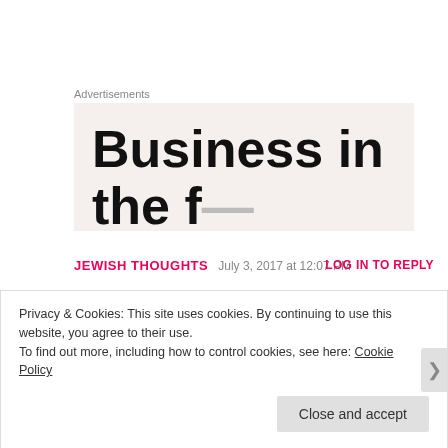Advertisements
[Figure (other): Advertisement banner showing partial text 'Business in the f...' on a light beige/cream background]
JEWISH THOUGHTS   July 3, 2017 at 12:07 PM   LOG IN TO REPLY
[Figure (illustration): Circular avatar icon with a golden Star of David on a light gray background]
Hi there, thanks for commenting on my post yesterday. I have nominated you for the Liebster award, please find the details below:
Privacy & Cookies: This site uses cookies. By continuing to use this website, you agree to their use.
To find out more, including how to control cookies, see here: Cookie Policy
Close and accept